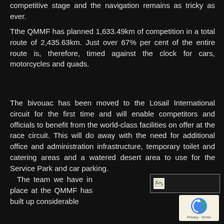competitive stage and the navigation remains as tricky as ever.
Tthe QMMF has planned 1,633.49km of competition in a total route of 2,435.63km. Just over 67% per cent of the entire route is, therefore, timed against the clock for cars, motorcycles and quads.
The bivouac has been moved to the Losail International circuit for the first time and will enable competitors and officials to benefit from the world-class facilities on offer at the race circuit. This will do away with the need for additional office and administration infrastructure, temporary toilet and catering areas and a watered desert area to use for the Service Park and car parking.
The team we have in place at the QMMF has built up considerable
[Figure (photo): Image placeholder with broken image icon]
[Figure (other): reCAPTCHA badge with Privacy and Terms text]